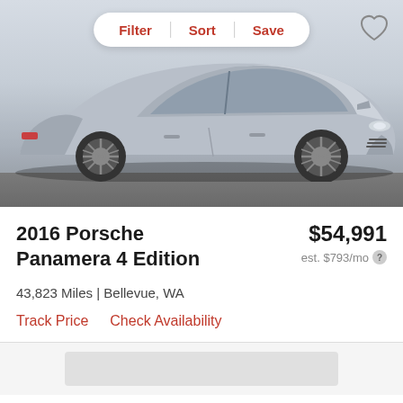[Figure (photo): Silver Porsche Panamera 4 Edition photographed from the side in a parking lot, with a white toolbar overlay showing Filter, Sort, and Save buttons, and a heart/favorite icon in the top right corner.]
2016 Porsche Panamera 4 Edition
$54,991
est. $793/mo
43,823 Miles | Bellevue, WA
Track Price
Check Availability